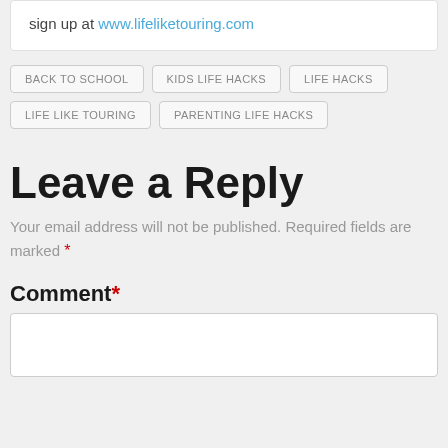sign up at www.lifeliketouring.com
BACK TO SCHOOL
KIDS LIFE HACKS
LIFE HACKS
LIFE LIKE TOURING
PARENTING LIFE HACKS
Leave a Reply
Your email address will not be published. Required fields are marked *
Comment *